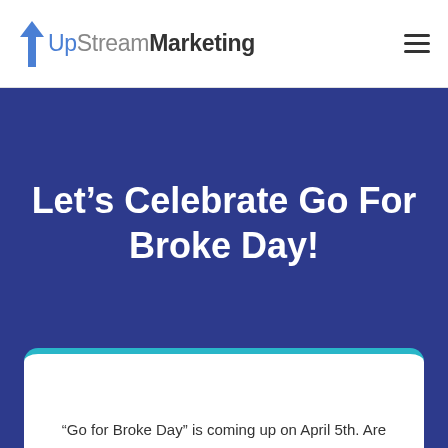[Figure (logo): UpStream Marketing logo with blue arrow icon pointing upward, text reading UpStreamMarketing]
Let’s Celebrate Go For Broke Day!
“Go for Broke Day” is coming up on April 5th. Are